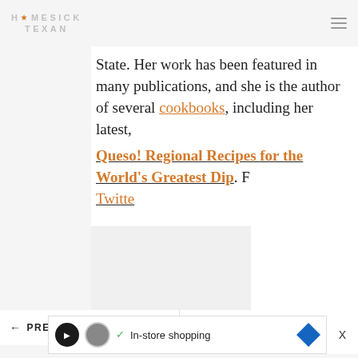HOMESICK TEXAN
State. Her work has been featured in many publications, and she is the author of several cookbooks, including her latest, Queso! Regional Recipes for the World's Greatest Dip. F Twitte
← PREVIOUS   NEXT →